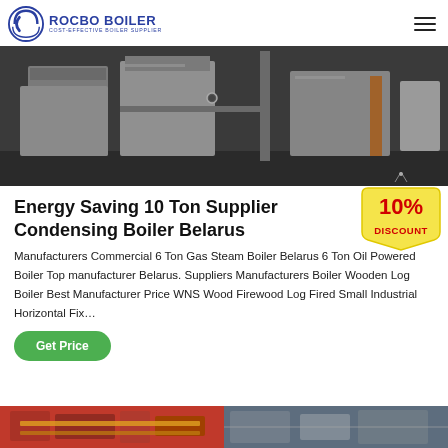[Figure (logo): Rocbo Boiler logo with circular arc icon and text 'ROCBO BOILER - COST-EFFECTIVE BOILER SUPPLIER' in blue]
[Figure (photo): Industrial boiler equipment in a facility - large metallic boiler units in a dark industrial setting]
Energy Saving 10 Ton Supplier Condensing Boiler Belarus
[Figure (other): 10% DISCOUNT badge/sticker in red and yellow]
Manufacturers Commercial 6 Ton Gas Steam Boiler Belarus 6 Ton Oil Powered Boiler Top manufacturer Belarus. Suppliers Manufacturers Boiler Wooden Log Boiler Best Manufacturer Price WNS Wood Firewood Log Fired Small Industrial Horizontal Fix…
[Figure (photo): Bottom strip showing partial view of two industrial boiler images side by side]